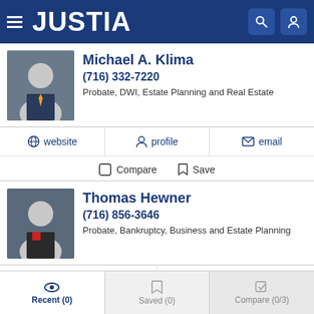JUSTIA
Michael A. Klima
(716) 332-7220
Probate, DWI, Estate Planning and Real Estate
website  profile  email
Compare  Save
Thomas Hewner
(716) 856-3646
Probate, Bankruptcy, Business and Estate Planning
profile  email
Compare  Save
Recent (0)  Saved (0)  Compare (0/3)